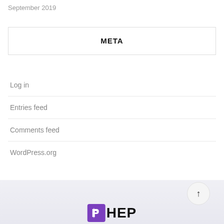September 2019
META
Log in
Entries feed
Comments feed
WordPress.org
[Figure (logo): HEP logo with purple icon and bold text]